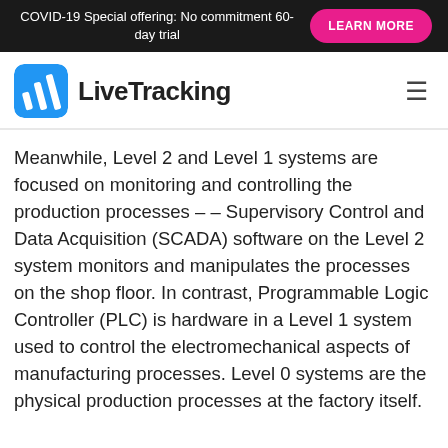COVID-19 Special offering: No commitment 60-day trial   LEARN MORE
[Figure (logo): LiveTracking logo with blue rounded square icon containing white bar chart symbol and text 'LiveTracking']
Meanwhile, Level 2 and Level 1 systems are focused on monitoring and controlling the production processes -- Supervisory Control and Data Acquisition (SCADA) software on the Level 2 system monitors and manipulates the processes on the shop floor. In contrast, Programmable Logic Controller (PLC) is hardware in a Level 1 system used to control the electromechanical aspects of manufacturing processes. Level 0 systems are the physical production processes at the factory itself.